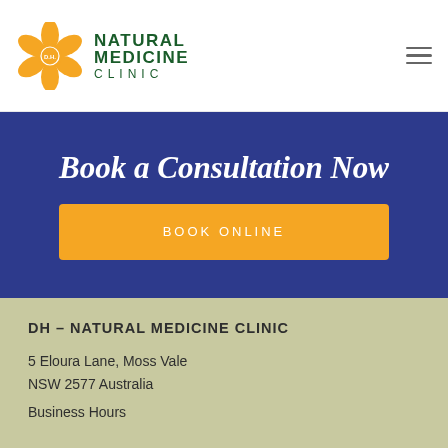[Figure (logo): Natural Medicine Clinic logo with orange flower and green text]
Book a Consultation Now
BOOK ONLINE
DH – NATURAL MEDICINE CLINIC
5 Eloura Lane, Moss Vale
NSW 2577 Australia
Business Hours